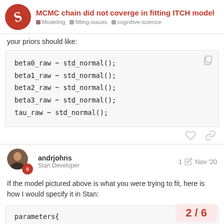MCMC chain did not coverge in fitting ITCH model | Modeling | fitting-issues | cognitive-science
your priors should like:
andrjohns   1 ✏  Nov '20
Stan Developer
If the model pictured above is what you were trying to fit, here is how I would specify it in Stan:
2 / 6